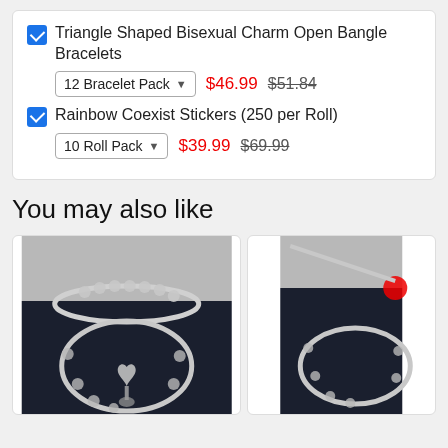Triangle Shaped Bisexual Charm Open Bangle Bracelets  12 Bracelet Pack  $46.99  $51.84
Rainbow Coexist Stickers (250 per Roll)  10 Roll Pack  $39.99  $69.99
You may also like
[Figure (photo): Left product card showing a silver bracelet with heart charm on dark navy background, top portion showing light gray background]
[Figure (photo): Right product card (partially visible) showing a silver bracelet on dark navy background, top portion showing light gray background with red accent]